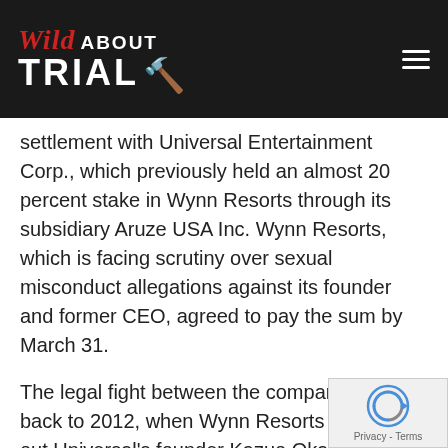Wild About Trial
settlement with Universal Entertainment Corp., which previously held an almost 20 percent stake in Wynn Resorts through its subsidiary Aruze USA Inc. Wynn Resorts, which is facing scrutiny over sexual misconduct allegations against its founder and former CEO, agreed to pay the sum by March 31.
The legal fight between the companies dates back to 2012, when Wynn Resorts pushed out Universal's founder Kazuo Okada after finding the Japanese tycoon made improper payments to overseas gambling regulators. The actions by Wynn Resorts stemmed from a separate casino resort project Okada was undertaking in the Philippines.